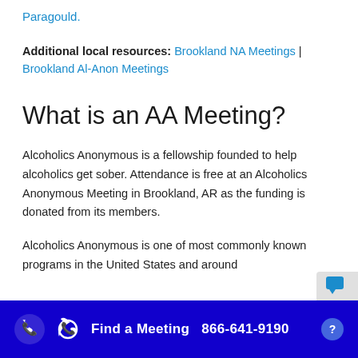Paragould.
Additional local resources: Brookland NA Meetings | Brookland Al-Anon Meetings
What is an AA Meeting?
Alcoholics Anonymous is a fellowship founded to help alcoholics get sober. Attendance is free at an Alcoholics Anonymous Meeting in Brookland, AR as the funding is donated from its members.
Alcoholics Anonymous is one of most commonly known programs in the United States and around
Find a Meeting 866-641-9190